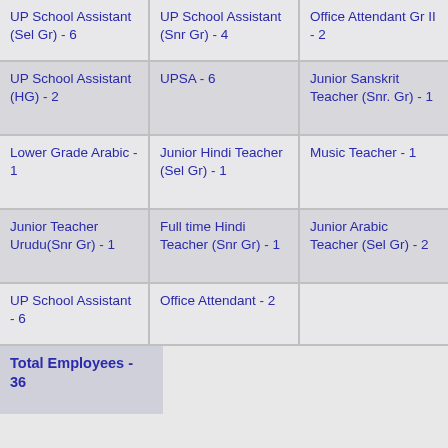| UP School Assistant (Sel Gr) - 6 | UP School Assistant (Snr Gr) - 4 | Office Attendant Gr II - 2 |
| UP School Assistant (HG) - 2 | UPSA - 6 | Junior Sanskrit Teacher (Snr. Gr) - 1 |
| Lower Grade Arabic - 1 | Junior Hindi Teacher (Sel Gr) - 1 | Music Teacher - 1 |
| Junior Teacher Urudu(Snr Gr) - 1 | Full time Hindi Teacher (Snr Gr) - 1 | Junior Arabic Teacher (Sel Gr) - 2 |
| UP School Assistant - 6 | Office Attendant - 2 |  |
| Total Employees - 36 |  |  |